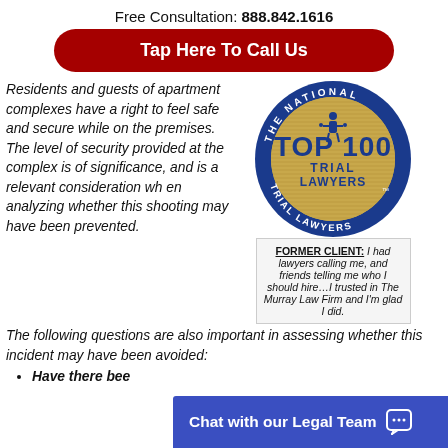Free Consultation: 888.842.1616
Tap Here To Call Us
Residents and guests of apartment complexes have a right to feel safe and secure while on the premises. The level of security provided at the complex is of significance, and is a relevant consideration when analyzing whether this shooting may have been prevented. The following questions are also important in assessing whether this incident may have been avoided:
[Figure (logo): The National Trial Lawyers Top 100 Trial Lawyers badge — circular blue and gold seal with a figure holding scales of justice]
FORMER CLIENT: I had lawyers calling me, and friends telling me who I should hire…I trusted in The Murray Law Firm and I'm glad I did.
Have there been
Chat with our Legal Team